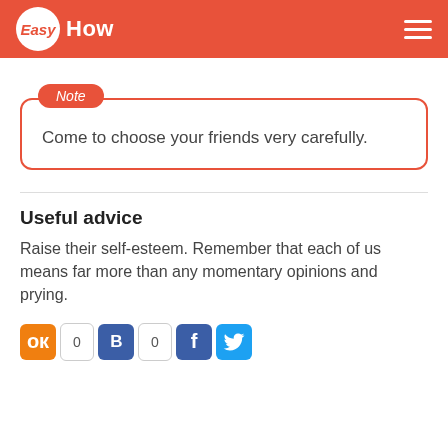EasyHow
Come to choose your friends very carefully.
Useful advice
Raise their self-esteem. Remember that each of us means far more than any momentary opinions and prying.